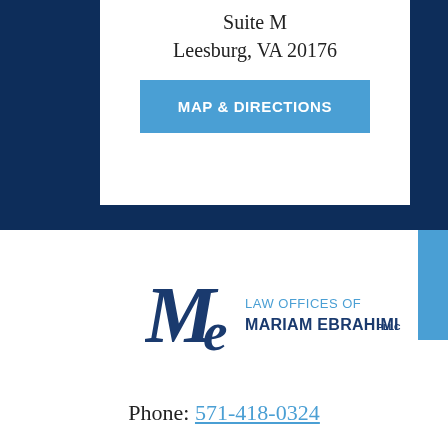Suite M
Leesburg, VA 20176
MAP & DIRECTIONS
[Figure (logo): Law Offices of Mariam Ebrahimi PLLC logo with stylized ME monogram]
Phone: 571-418-0324